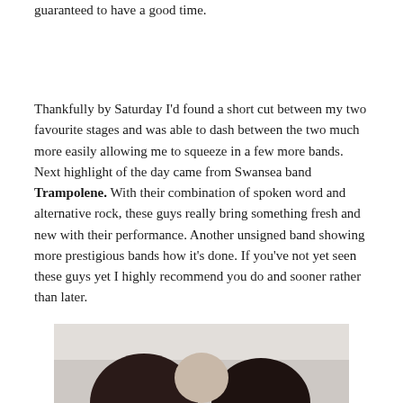guaranteed to have a good time.
Thankfully by Saturday I'd found a short cut between my two favourite stages and was able to dash between the two much more easily allowing me to squeeze in a few more bands. Next highlight of the day came from Swansea band Trampolene. With their combination of spoken word and alternative rock, these guys really bring something fresh and new with their performance. Another unsigned band showing more prestigious bands how it's done. If you've not yet seen these guys yet I highly recommend you do and sooner rather than later.
[Figure (photo): Partial photo of a person, cropped at bottom of page, showing top of head/hair area against a light background.]